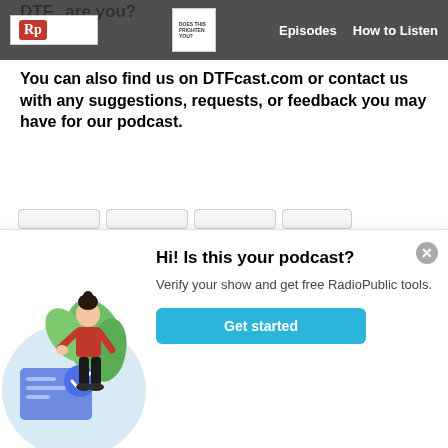DTF...are you? | Menu | Episodes | How to Listen
You can also find us on DTFcast.com or contact us with any suggestions, requests, or feedback you may have for our podcast.
dtfpod@gmail.com
DTF Facebook Group
[Figure (illustration): Illustration of a woman in a red top standing next to a large blue card with a checkmark, green leaves in background, inside a light blue circle]
Hi! Is this your podcast? Verify your show and get free RadioPublic tools. Get started